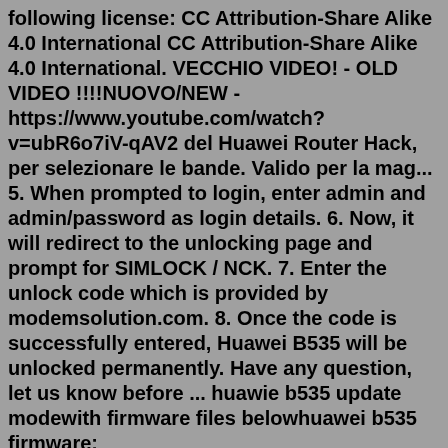following license: CC Attribution-Share Alike 4.0 International CC Attribution-Share Alike 4.0 International. VECCHIO VIDEO! - OLD VIDEO !!!!NUOVO/NEW - https://www.youtube.com/watch?v=ubR6o7iV-qAV2 del Huawei Router Hack, per selezionare le bande. Valido per la mag... 5. When prompted to login, enter admin and admin/password as login details. 6. Now, it will redirect to the unlocking page and prompt for SIMLOCK / NCK. 7. Enter the unlock code which is provided by modemsolution.com. 8. Once the code is successfully entered, Huawei B535 will be unlocked permanently. Have any question, let us know before ... huawie b535 update modewith firmware files belowhuawei b535 firmware: https://mega.nz/file/hQQCxJQB#kAk3A4iC4StxVmm3 file extrac... huawie b535 update modewith firmware files belowhuawei b535 firmware: https://mega.nz/file/hQQCxJQB#kAk3A4iC4StxVmm3 file extrac... easy-firmware.com easy-firmware.com I took the gamble and bought a package from them...